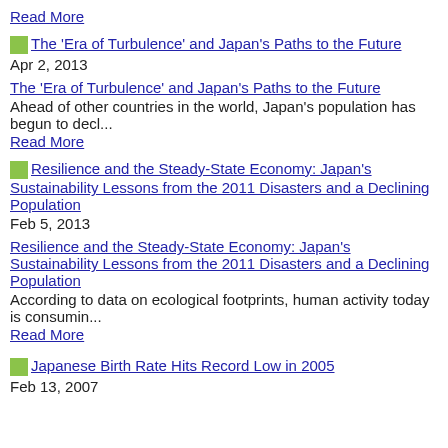Read More
[Figure (illustration): Thumbnail image for article 'The Era of Turbulence and Japan's Paths to the Future']
The 'Era of Turbulence' and Japan's Paths to the Future
Apr 2, 2013
The 'Era of Turbulence' and Japan's Paths to the Future
Ahead of other countries in the world, Japan's population has begun to decl...
Read More
[Figure (illustration): Thumbnail image for article 'Resilience and the Steady-State Economy: Japan's Sustainability Lessons from the 2011 Disasters and a Declining Population']
Resilience and the Steady-State Economy: Japan's Sustainability Lessons from the 2011 Disasters and a Declining Population
Feb 5, 2013
Resilience and the Steady-State Economy: Japan's Sustainability Lessons from the 2011 Disasters and a Declining Population
According to data on ecological footprints, human activity today is consumin...
Read More
[Figure (illustration): Thumbnail image for article 'Japanese Birth Rate Hits Record Low in 2005']
Japanese Birth Rate Hits Record Low in 2005
Feb 13, 2007